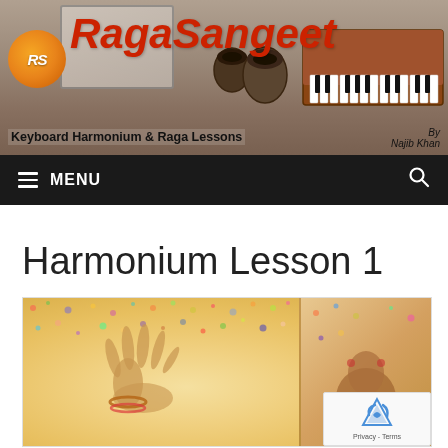[Figure (photo): RagaSangeet website header banner showing the site logo, musical instruments (tabla, harmonium, sitar), with site name 'RagaSangeet' in red italic text, tagline 'Keyboard Harmonium & Raga Lessons', and 'By Najib Khan']
≡ MENU
Harmonium Lesson 1
[Figure (photo): Featured image showing a classical Indian dancer's hands with henna/mehndi decorations raised upward, with colorful speckled bokeh background]